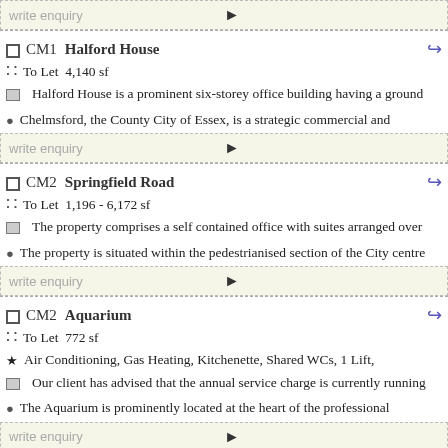write enquiry
CM1  Halford House | To Let 4,140 sf | Halford House is a prominent six-storey office building having a ground | Chelmsford, the County City of Essex, is a strategic commercial and
write enquiry
CM2  Springfield Road | To Let 1,196 - 6,172 sf | The property comprises a self contained office with suites arranged over | The property is situated within the pedestrianised section of the City centre
write enquiry
CM2  Aquarium | To Let 772 sf | Air Conditioning, Gas Heating, Kitchenette, Shared WCs, 1 Lift, | Our client has advised that the annual service charge is currently running | The Aquarium is prominently located at the heart of the professional
write enquiry